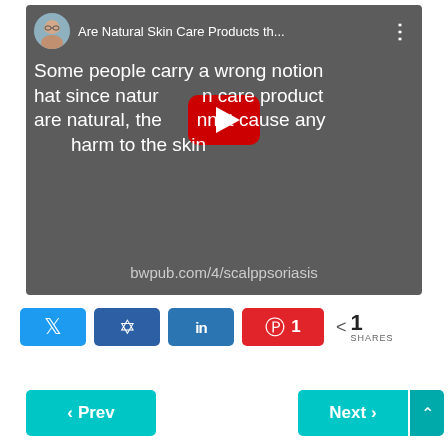[Figure (screenshot): YouTube video thumbnail showing dark gray background with white text reading 'Some people carry a wrong notion that since natural skin care products are natural, they cannot cause any harm to the skin' and URL 'bwpub.com/4/scalppsoriasis'. Video title bar shows 'Are Natural Skin Care Products th...' with a red YouTube play button overlay.]
[Figure (infographic): Social sharing buttons row: Twitter (blue), Facebook (blue), LinkedIn (blue), Pinterest (red with count '1'), and share count showing '1 SHARES']
[Figure (infographic): Navigation buttons: '< Prev' in teal on the left and 'Next >' in teal on the right]